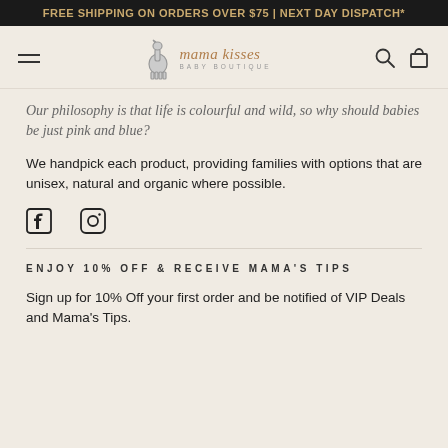FREE SHIPPING ON ORDERS OVER $75 | NEXT DAY DISPATCH*
[Figure (logo): Mama Kisses Baby Boutique logo with llama illustration]
Our philosophy is that life is colourful and wild, so why should babies be just pink and blue?
We handpick each product, providing families with options that are unisex, natural and organic where possible.
[Figure (illustration): Facebook and Instagram social media icons]
ENJOY 10% OFF & RECEIVE MAMA'S TIPS
Sign up for 10% Off your first order and be notified of VIP Deals and Mama's Tips.